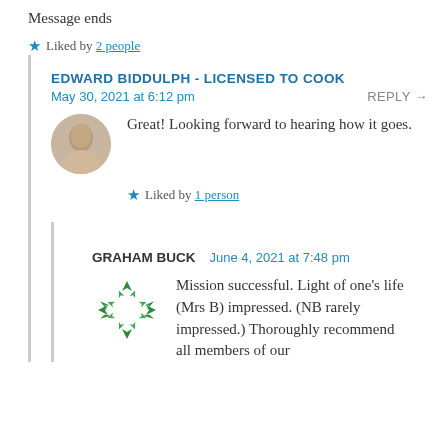Message ends
Liked by 2 people
EDWARD BIDDULPH - LICENSED TO COOK
May 30, 2021 at 6:12 pm
REPLY →
Great! Looking forward to hearing how it goes.
Liked by 1 person
GRAHAM BUCK
June 4, 2021 at 7:48 pm
Mission successful. Light of one's life (Mrs B) impressed. (NB rarely impressed.) Thoroughly recommend all members of our